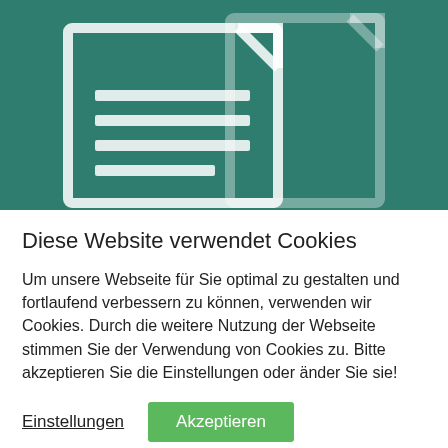[Figure (illustration): Dark teal/green background with a large white document/file icon showing two overlapping document pages with horizontal lines representing text, stylized and slightly blurred]
Diese Website verwendet Cookies
Um unsere Webseite für Sie optimal zu gestalten und fortlaufend verbessern zu können, verwenden wir Cookies. Durch die weitere Nutzung der Webseite stimmen Sie der Verwendung von Cookies zu. Bitte akzeptieren Sie die Einstellungen oder änder Sie sie!
Einstellungen  Akzeptieren